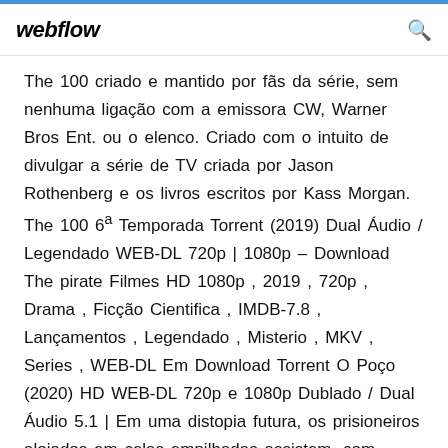webflow
The 100 criado e mantido por fãs da série, sem nenhuma ligação com a emissora CW, Warner Bros Ent. ou o elenco. Criado com o intuito de divulgar a série de TV criada por Jason Rothenberg e os livros escritos por Kass Morgan. The 100 6ª Temporada Torrent (2019) Dual Áudio / Legendado WEB-DL 720p | 1080p – Download The pirate Filmes HD 1080p , 2019 , 720p , Drama , Ficção Cientifica , IMDB-7.8 , Lançamentos , Legendado , Misterio , MKV , Series , WEB-DL Em Download Torrent O Poço (2020) HD WEB-DL 720p e 1080p Dublado / Dual Áudio 5.1 | Em uma distopia futura, os prisioneiros alojados em celas empilhadas assistem, com fome, a comida sendo